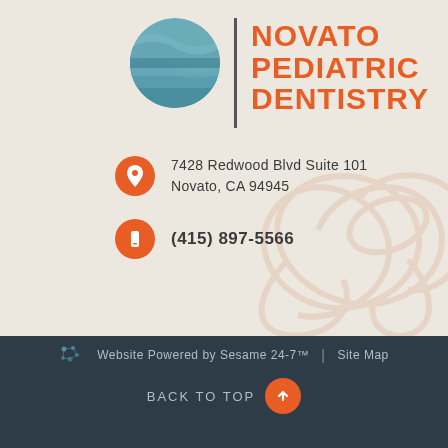[Figure (logo): Novato Pediatric Dentistry logo — circular icon with teal ocean waves layered in muted blue-green tones, followed by a vertical divider line, then the text NOVATO PEDIATRIC DENTISTRY in bold orange uppercase]
7428 Redwood Blvd Suite 101
Novato, CA 94945
(415) 897-5566
Website Powered by Sesame 24-7™  |  Site Map
BACK TO TOP